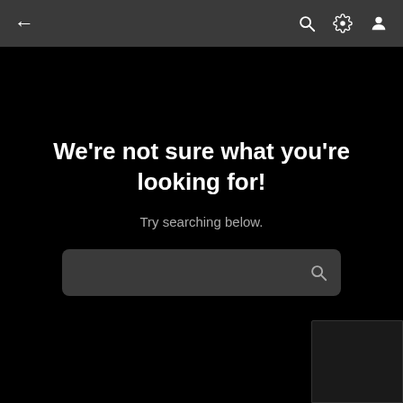← (back) | search icon | settings icon | profile icon
We're not sure what you're looking for!
Try searching below.
[Figure (screenshot): Search input bar with magnifying glass icon on dark background]
[Figure (screenshot): Partially visible dark card in bottom-right corner]